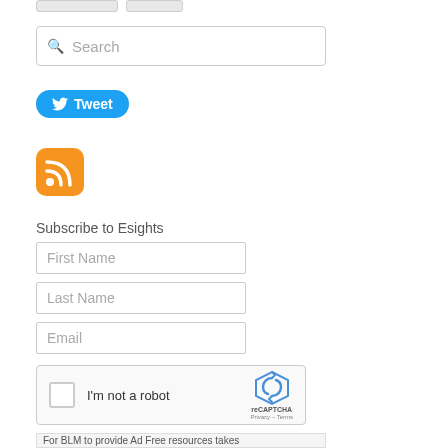[Figure (screenshot): Two small stub buttons at top (partially visible)]
[Figure (screenshot): Search input field with magnifying glass icon and placeholder text 'Search']
[Figure (screenshot): Twitter Tweet button in blue with bird icon]
[Figure (screenshot): Orange RSS feed icon]
Subscribe to Esights
[Figure (screenshot): Form fields: First Name, Last Name, Email text inputs; reCAPTCHA widget with checkbox 'I'm not a robot'; Subscribe button; partial bottom bar text 'For BLM to provide Ad Free resources takes']